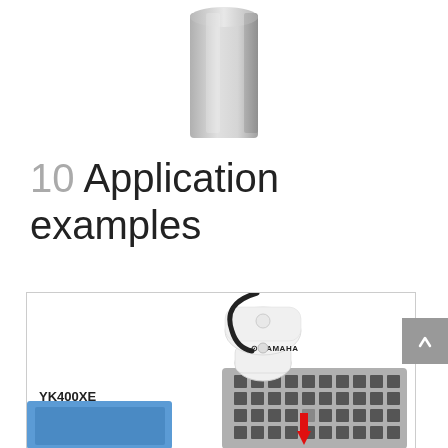[Figure (photo): Partial view of a robot arm component (cylindrical silver/grey mechanical part) cropped at top of page]
10 Application examples
[Figure (photo): Yamaha YK400XE SCARA robot arm (white) picking from a grey component tray with black square sockets. Red arrow points to component being picked. A blue object is visible at bottom left. The image is within a bordered box.]